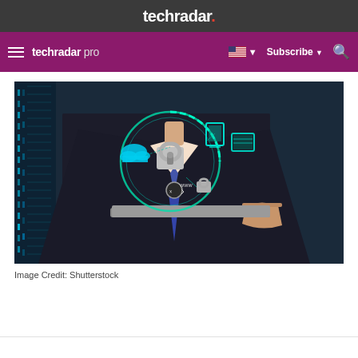techradar.
techradar pro  Subscribe
[Figure (photo): Person in business suit holding a tablet with a digital security interface overlay showing a padlock, cloud icon, WWW cursor, and connected device icons in teal/cyan on a dark background with blue server lights in the background.]
Image Credit: Shutterstock